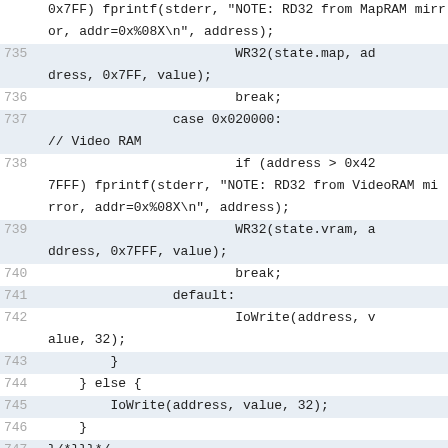0x7FF) fprintf(stderr, "NOTE: RD32 from MapRAM mirror, addr=0x%08X\n", address);
735    WR32(state.map, address, 0x7FF, value);
736    break;
737    case 0x020000: // Video RAM
738    if (address > 0x427FFF) fprintf(stderr, "NOTE: RD32 from VideoRAM mirror, addr=0x%08X\n", address);
739    WR32(state.vram, address, 0x7FFF, value);
740    break;
741    default:
742    IoWrite(address, value, 32);
743    }
744    } else {
745        IoWrite(address, value, 32);
746    }
747 }/*}}}*/
748
749 /**
750  * @brief Write M68K memory, 16-bit